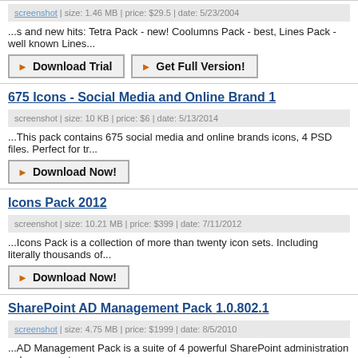screenshot | size: 1.46 MB | price: $29.5 | date: 5/23/2004
...s and new hits: Tetra Pack - new! Coolumns Pack - best, Lines Pack - well known Lines...
Download Trial
Get Full Version!
675 Icons - Social Media and Online Brand 1
screenshot | size: 10 KB | price: $6 | date: 5/13/2014
...This pack contains 675 social media and online brands icons, 4 PSD files. Perfect for tr...
Download Now!
Icons Pack 2012
screenshot | size: 10.21 MB | price: $399 | date: 7/11/2012
...Icons Pack is a collection of more than twenty icon sets. Including literally thousands of...
Download Now!
SharePoint AD Management Pack 1.0.802.1
screenshot | size: 4.75 MB | price: $1999 | date: 8/5/2010
...AD Management Pack is a suite of 4 powerful SharePoint administration enhancements administrators. Comprising of Password Change, AD Information Sync, AD Administrat...